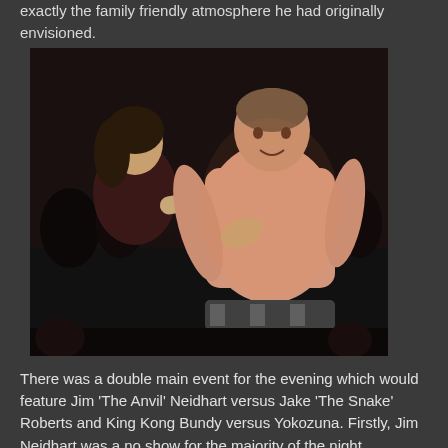exactly the family friendly atmosphere he had originally envisioned.
[Figure (photo): Black and white/dark photo of a shirtless man (Jim Neidhart) with a woman touching his chest, crowd visible in background at a wrestling event.]
There was a double main event for the evening which would feature Jim 'The Anvil' Neidhart versus Jake 'The Snake' Roberts and King Kong Bundy versus Yokozuna. Firstly, Jim Neidhart was a no show for the majority of the night. Apparently, his flight kept getting screwed up...so he finally arrived 40 minutes before his match. His opponent, Jake Roberts was completely intoxicated and high as a kite. So